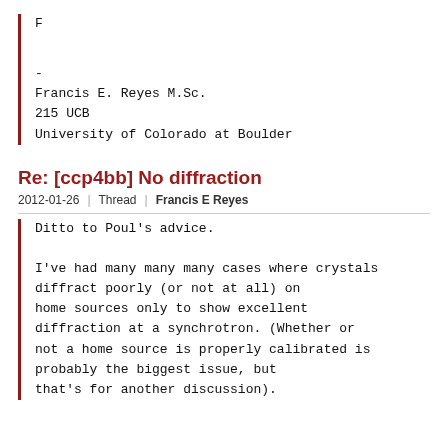F
-
Francis E. Reyes M.Sc.
215 UCB
University of Colorado at Boulder
Re: [ccp4bb] No diffraction
2012-01-26  Thread  Francis E Reyes
Ditto to Poul's advice.

I've had many many many cases where crystals diffract poorly (or not at all) on home sources only to show excellent diffraction at a synchrotron. (Whether or not a home source is properly calibrated is probably the biggest issue, but that's for another discussion).